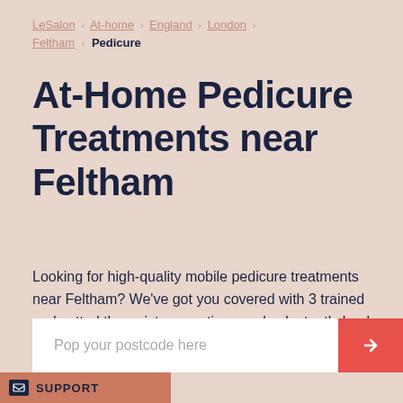LeSalon › At-home › England › London › Feltham › Pedicure
At-Home Pedicure Treatments near Feltham
Looking for high-quality mobile pedicure treatments near Feltham? We've got you covered with 3 trained and vetted therapists operating nearby. Instantly book your first LeSalon experience today.
Pop your postcode here
SUPPORT